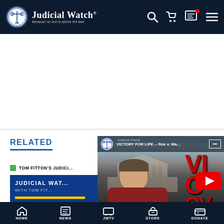Judicial Watch — Because no one is above the law!
[Figure (screenshot): Judicial Watch website screenshot showing navigation header with logo, search, cart, and menu icons]
RELATED
TOM FITTON'S JUDICI...
[Figure (photo): Judicial Watch with Tom Fitton thumbnail image showing book cover]
[Figure (screenshot): YouTube video: VICTORY FOR LIFE -- Roe v. Wade, showing Tom Fitton in front of Supreme Court with red VIC text overlay and YouTube play button]
HOME  NEWS  JWTV  STORE  DONATE